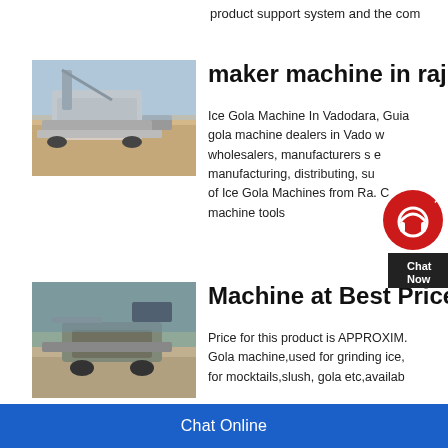product support system and the com
maker machine in rajkot
[Figure (photo): Construction/mining machinery with excavator arm on dusty ground]
Ice Gola Machine In Vadodara, Gujarat. gola machine dealers in Vadodara, wholesalers, manufacturers supplying, manufacturing, distributing, supplying of Ice Gola Machines from Rajkot. machine tools
Machine at Best Price in
[Figure (photo): Heavy construction crushing machine working with stone aggregate]
Price for this product is APPROXIM. Gola machine,used for grinding ice, for mocktails,slush, gola etc,availab
Chat Online